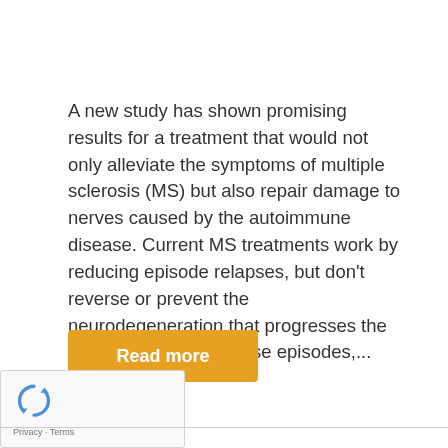A new study has shown promising results for a treatment that would not only alleviate the symptoms of multiple sclerosis (MS) but also repair damage to nerves caused by the autoimmune disease. Current MS treatments work by reducing episode relapses, but don't reverse or prevent the neurodegeneration that progresses the disease caused by these episodes,...
Read more